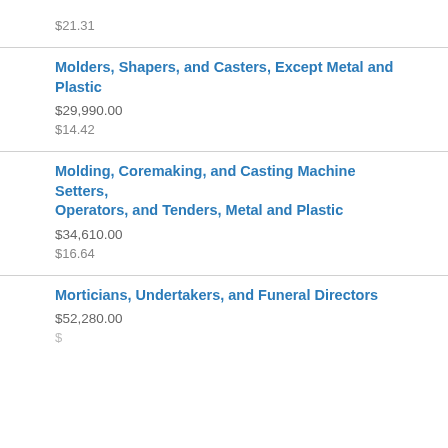$21.31
Molders, Shapers, and Casters, Except Metal and Plastic
$29,990.00
$14.42
Molding, Coremaking, and Casting Machine Setters, Operators, and Tenders, Metal and Plastic
$34,610.00
$16.64
Morticians, Undertakers, and Funeral Directors
$52,280.00